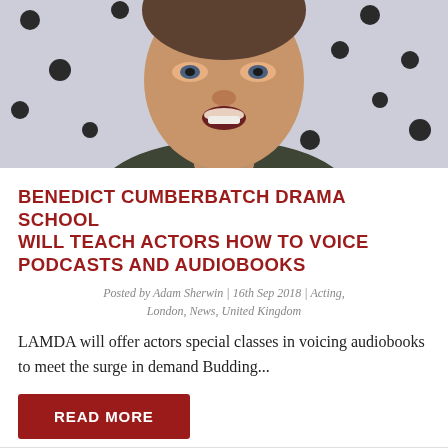[Figure (photo): Close-up photo of Benedict Cumberbatch speaking, wearing a dark jacket, in front of a light purple background with dark circular dots]
BENEDICT CUMBERBATCH DRAMA SCHOOL WILL TEACH ACTORS HOW TO VOICE PODCASTS AND AUDIOBOOKS
Posted by Adam Sherwin | 16th Sep 2018 | Acting, London, News, United Kingdom
LAMDA will offer actors special classes in voicing audiobooks to meet the surge in demand Budding...
READ MORE